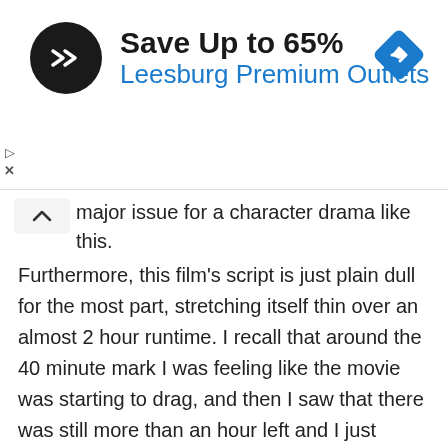[Figure (infographic): Advertisement banner: circular black logo with double arrow symbol, text 'Save Up to 65%' in bold black and 'Leesburg Premium Outlets' in blue, blue diamond navigation icon on the right]
major issue for a character drama like this. Furthermore, this film's script is just plain dull for the most part, stretching itself thin over an almost 2 hour runtime. I recall that around the 40 minute mark I was feeling like the movie was starting to drag, and then I saw that there was still more than an hour left and I just thought "How!?!" Honestly, the film could have done better by focusing much more on the main plot, maybe building some tension by actually giving us some insight into Josh's research (he just sort of shows up with his big presentations each time), and show us more of the strain that this stand was apparently putting on him (he loses his